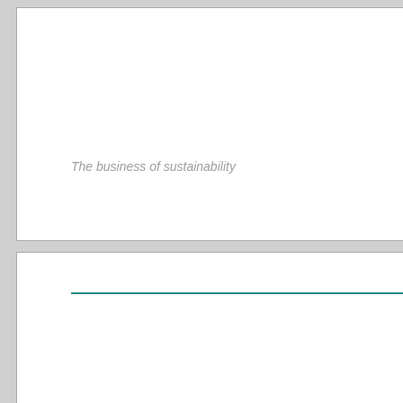The business of sustainability
| Document details |  |
| --- | --- |
| Document title | Hong Kong Offshore LNG Terminal Pro... |
| Document subtitle | Monthly Environmental Monitoring and... |